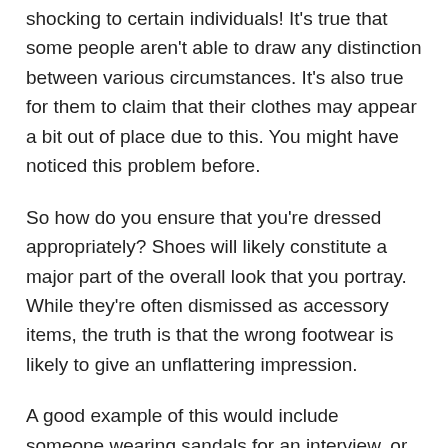shocking to certain individuals! It's true that some people aren't able to draw any distinction between various circumstances. It's also true for them to claim that their clothes may appear a bit out of place due to this. You might have noticed this problem before.
So how do you ensure that you're dressed appropriately? Shoes will likely constitute a major part of the overall look that you portray. While they're often dismissed as accessory items, the truth is that the wrong footwear is likely to give an unflattering impression.
A good example of this would include someone wearing sandals for an interview, or to another formal event. One might argue that there's no reason to not wear sandals. worn. One argument indicates that we're more comfortable with a lesser degree of formality. This is evident at work in particular in the workplace, where it's becoming more normal for men to avoid suits.